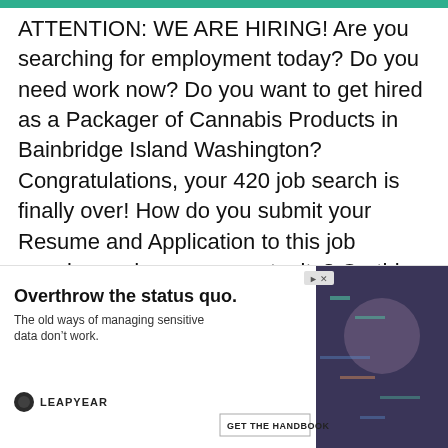ATTENTION: WE ARE HIRING! Are you searching for employment today? Do you need work now? Do you want to get hired as a Packager of Cannabis Products in Bainbridge Island Washington? Congratulations, your 420 job search is finally over! How do you submit your Resume and Application to this job opening and career opportunity? On this user-friendly and free website Marijuana Jobs Cannabis Careersâ„¢, you can quickly submit your Resume and Application to this job li... m... b... Wood, and CBD industry. It is really that
[Figure (other): Advertisement overlay: 'Overthrow the status quo. The old ways of managing sensitive data don't work.' — Leapyear. GET THE HANDBOOK button.]